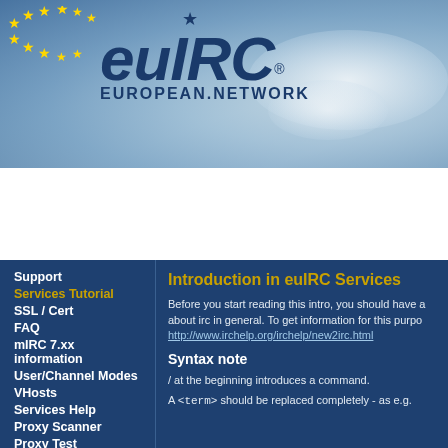[Figure (illustration): euIRC European Network website banner with logo, EU stars, and Earth background]
Home | News | Server/Admins | Support | Community | Web
SUPPORT
Introduction in euIRC Services
Before you start reading this intro, you should have a about irc in general. To get information for this purpo http://www.irchelp.org/irchelp/new2irc.html
Syntax note
/ at the beginning introduces a command.
A <term> should be replaced completely - as e.g.
Support
Services Tutorial
SSL / Cert
FAQ
mIRC 7.xx information
User/Channel Modes
VHosts
Services Help
Proxy Scanner
Proxy Test